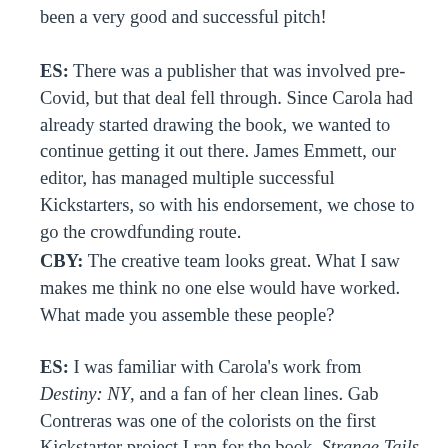been a very good and successful pitch!
ES: There was a publisher that was involved pre-Covid, but that deal fell through. Since Carola had already started drawing the book, we wanted to continue getting it out there. James Emmett, our editor, has managed multiple successful Kickstarters, so with his endorsement, we chose to go the crowdfunding route.
CBY: The creative team looks great. What I saw makes me think no one else would have worked. What made you assemble these people?
ES: I was familiar with Carola's work from Destiny: NY, and a fan of her clean lines. Gab Contreras was one of the colorists on the first Kickstarter project I ran for the book, Strange Tails (nominated for a 2020